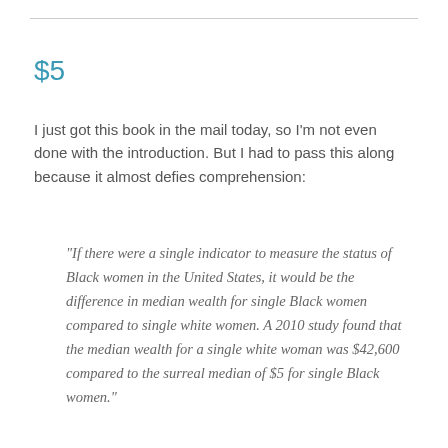$5
I just got this book in the mail today, so I'm not even done with the introduction. But I had to pass this along because it almost defies comprehension:
“If there were a single indicator to measure the status of Black women in the United States, it would be the difference in median wealth for single Black women compared to single white women. A 2010 study found that the median wealth for a single white woman was $42,600 compared to the surreal median of $5 for single Black women.”